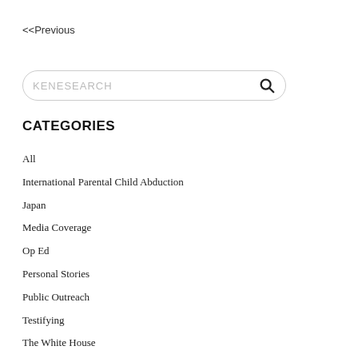<<Previous
KENESEARCH
CATEGORIES
All
International Parental Child Abduction
Japan
Media Coverage
Op Ed
Personal Stories
Public Outreach
Testifying
The White House
U.S. Congress